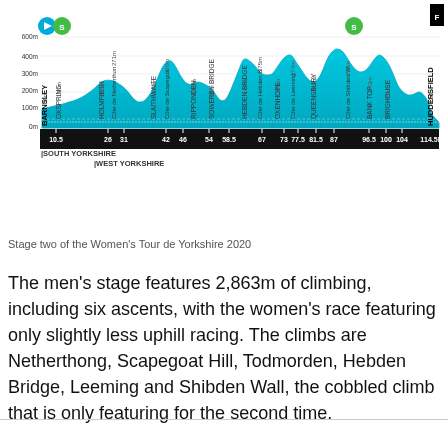[Figure (area-chart): Elevation profile of Stage 2 from Barnsley to Huddersfield (114.5km) with labeled climbs and km markers]
Stage two of the Women's Tour de Yorkshire 2020
The men's stage features 2,863m of climbing, including six ascents, with the women's race featuring only slightly less uphill racing. The climbs are Netherthong, Scapegoat Hill, Todmorden, Hebden Bridge, Leeming and Shibden Wall, the cobbled climb that is only featuring for the second time.